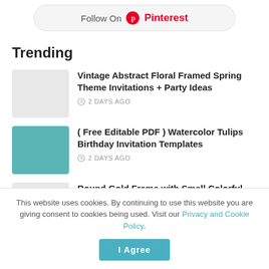[Figure (logo): Follow On Pinterest button with Pinterest logo and wordmark in red]
Trending
Vintage Abstract Floral Framed Spring Theme Invitations + Party Ideas — 2 DAYS AGO
( Free Editable PDF ) Watercolor Tulips Birthday Invitation Templates — 2 DAYS AGO
Round Gold Frame with Small Colorful Flower Petals Invitations + Party Ideas
This website uses cookies. By continuing to use this website you are giving consent to cookies being used. Visit our Privacy and Cookie Policy.